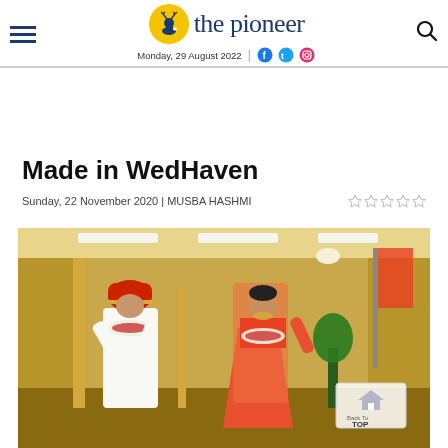the pioneer — Monday, 29 August 2022
Made in WedHaven
Sunday, 22 November 2020 | MUSBA HASHMI
[Figure (photo): Indian wedding couple in traditional attire — groom in white sherwani with red and gold turban, bride in orange/red lehenga with garlands, in a golden hotel corridor]